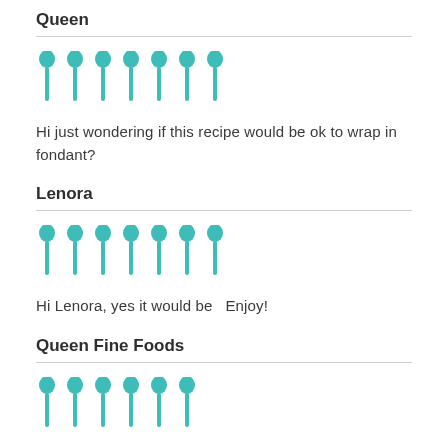Queen
[Figure (illustration): Seven teal spoon icons arranged in a row]
Hi just wondering if this recipe would be ok to wrap in fondant?
Lenora
[Figure (illustration): Seven teal spoon icons arranged in a row]
Hi Lenora, yes it would be   Enjoy!
Queen Fine Foods
[Figure (illustration): Six teal spoon icons arranged in a row (partially visible)]